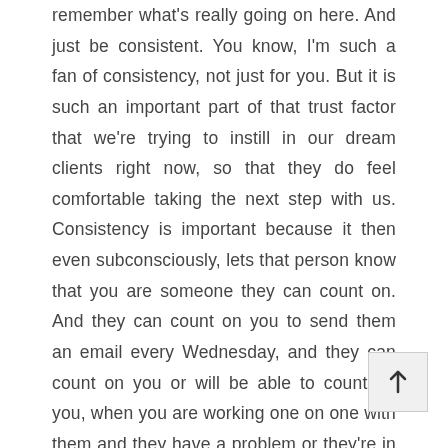remember what's really going on here. And just be consistent. You know, I'm such a fan of consistency, not just for you. But it is such an important part of that trust factor that we're trying to instill in our dream clients right now, so that they do feel comfortable taking the next step with us. Consistency is important because it then even subconsciously, lets that person know that you are someone they can count on. And they can count on you to send them an email every Wednesday, and they can count on you or will be able to count on you, when you are working one on one with them and they have a problem or they're in your course or your program. And they have a question. It's building that trust factor, which is so so important. Okay, we're gonna stop the email conversation here. I know I talked a lot I know I shared a